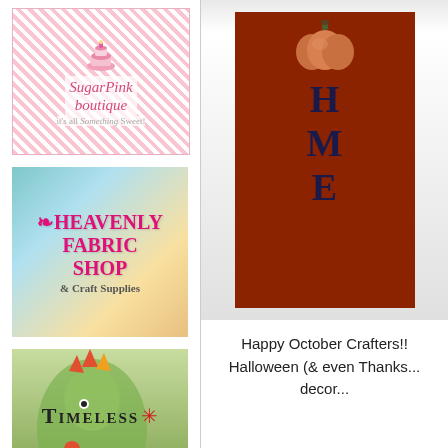[Figure (logo): SugarPink Boutique logo with pink polka-dot border and cake illustration]
[Figure (logo): Heavenly Fabric Shop & Craft Supplies logo with colorful sky background]
[Figure (photo): The Green Hedgehog - child in dinosaur costume with Whimsical Patterns & Fun Fabrics text overlay]
[Figure (logo): Timeless logo with star/asterisk symbol]
[Figure (photo): HOME wooden sign with pumpkin on top and large letters H, M, E painted in dark on red wood planks]
Happy October Crafters!! Halloween (& even Thanks... decor...